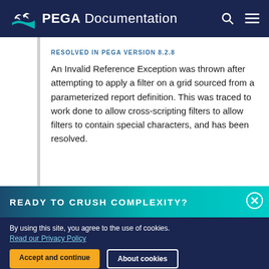PEGA Documentation
RESOLVED IN PEGA VERSION 8.2.8
An Invalid Reference Exception was thrown after attempting to apply a filter on a grid sourced from a parameterized report definition. This was traced to work done to allow cross-scripting filters to allow filters to contain special characters, and has been resolved.
READY TO CRUSH COMPLEXITY?
By using this site, you agree to the use of cookies.
Read our Privacy Policy
Accept and continue   About cookies